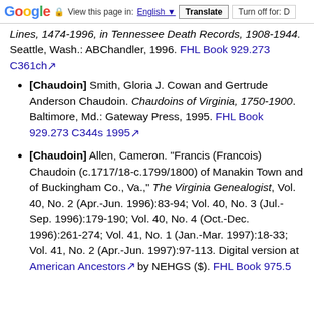Google  View this page in: English [▼]  Translate  Turn off for: D
Lines, 1474-1996, in Tennessee Death Records, 1908-1944. Seattle, Wash.: ABChandler, 1996. FHL Book 929.273 C361ch
[Chaudoin] Smith, Gloria J. Cowan and Gertrude Anderson Chaudoin. Chaudoins of Virginia, 1750-1900. Baltimore, Md.: Gateway Press, 1995. FHL Book 929.273 C344s 1995
[Chaudoin] Allen, Cameron. "Francis (Francois) Chaudoin (c.1717/18-c.1799/1800) of Manakin Town and of Buckingham Co., Va.," The Virginia Genealogist, Vol. 40, No. 2 (Apr.-Jun. 1996):83-94; Vol. 40, No. 3 (Jul.-Sep. 1996):179-190; Vol. 40, No. 4 (Oct.-Dec. 1996):261-274; Vol. 41, No. 1 (Jan.-Mar. 1997):18-33; Vol. 41, No. 2 (Apr.-Jun. 1997):97-113. Digital version at American Ancestors by NEHGS ($). FHL Book 975.5